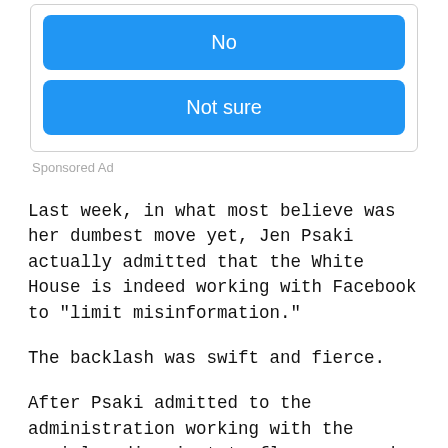[Figure (screenshot): Two blue rounded-rectangle buttons labeled 'No' and 'Not sure' inside a bordered card UI element]
Sponsored Ad
Last week, in what most believe was her dumbest move yet, Jen Psaki actually admitted that the White House is indeed working with Facebook to “limit misinformation.”
The backlash was swift and fierce.
After Psaki admitted to the administration working with the social media giant to flag supposed “problematic” posts, the Right went on the attack